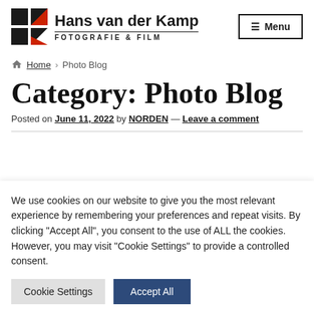[Figure (logo): Hans van der Kamp Fotografie & Film logo with black and red geometric K shape and company name]
Home › Photo Blog
Category: Photo Blog
Posted on June 11, 2022 by NORDEN — Leave a comment
We use cookies on our website to give you the most relevant experience by remembering your preferences and repeat visits. By clicking "Accept All", you consent to the use of ALL the cookies. However, you may visit "Cookie Settings" to provide a controlled consent.